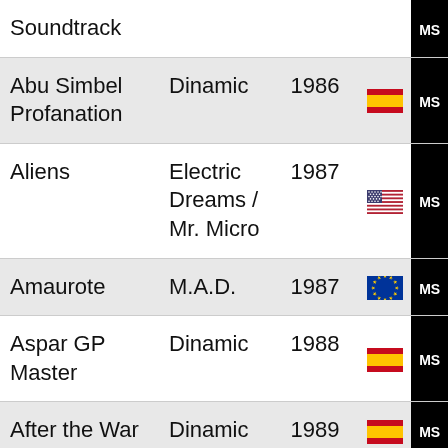| Name | Publisher | Year | Flag | Logo |
| --- | --- | --- | --- | --- |
| Soundtrack |  |  |  | MS |
| Abu Simbel Profanation | Dinamic | 1986 | Spain | MS |
| Aliens | Electric Dreams / Mr. Micro | 1987 | USA | MS |
| Amaurote | M.A.D. | 1987 | EU | MS |
| Aspar GP Master | Dinamic | 1988 | Spain | MS |
| After the War | Dinamic | 1989 | Spain | MS |
| Ale Hop! | Topo Soft | 1988 | Spain | MS |
| African Trial | Positive | 1990 | Spain | MS |